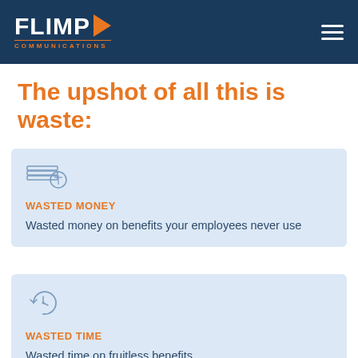FLIMP COMMUNICATIONS
The upshot of all this is waste:
WASTED MONEY
Wasted money on benefits your employees never use
WASTED TIME
Wasted time on fruitless benefits